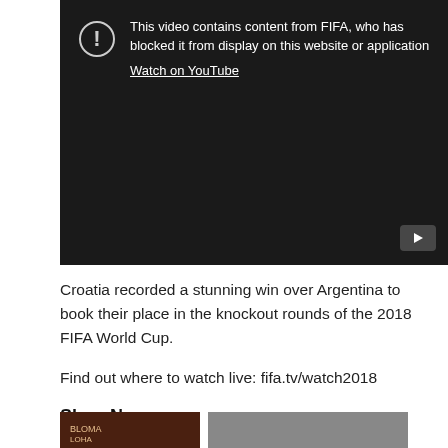[Figure (screenshot): YouTube video blocked message. Dark background with exclamation icon and text: 'This video contains content from FIFA, who has blocked it from display on this website or application. Watch on YouTube'. A play button icon is visible in the bottom right corner.]
Croatia recorded a stunning win over Argentina to book their place in the knockout rounds of the 2018 FIFA World Cup.
Find out where to watch live: fifa.tv/watch2018
Shop Now
[Figure (photo): Two partially visible product/promotional images at the bottom of the page.]